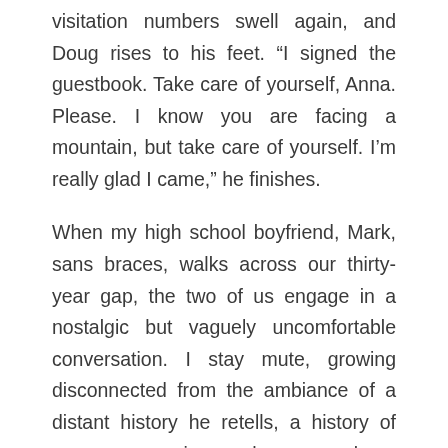visitation numbers swell again, and Doug rises to his feet. “I signed the guestbook. Take care of yourself, Anna. Please. I know you are facing a mountain, but take care of yourself. I’m really glad I came,” he finishes.
When my high school boyfriend, Mark, sans braces, walks across our thirty-year gap, the two of us engage in a nostalgic but vaguely uncomfortable conversation. I stay mute, growing disconnected from the ambiance of a distant history he retells, a history of summer evenings when we drove through a maze of unpaved roads. For six adolescent weeks, summer evenings passed sweetly but awkwardly between us. With Elton John whining through the glowing dashboard, the ping, ping of gravel jumping under the